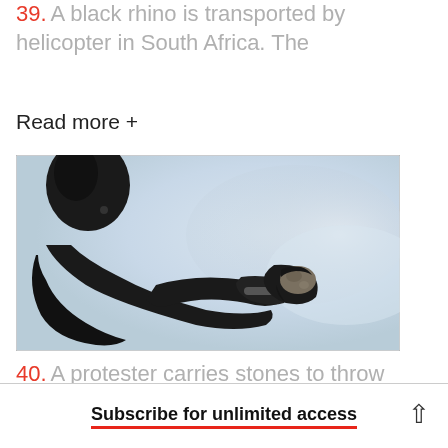39. A black rhino is transported by helicopter in South Africa. The
Read more +
[Figure (photo): A protester in dark clothing holds a stone in their raised fist against a hazy light blue/grey background.]
40. A protester carries stones to throw during clashes with Egyptian
Subscribe for unlimited access